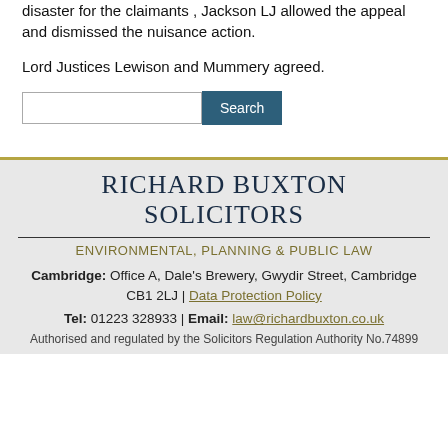disaster for the claimants , Jackson LJ allowed the appeal and dismissed the nuisance action.
Lord Justices Lewison and Mummery agreed.
RICHARD BUXTON SOLICITORS
ENVIRONMENTAL, PLANNING & PUBLIC LAW
Cambridge: Office A, Dale's Brewery, Gwydir Street, Cambridge CB1 2LJ | Data Protection Policy
Tel: 01223 328933 | Email: law@richardbuxton.co.uk
Authorised and regulated by the Solicitors Regulation Authority No.74899